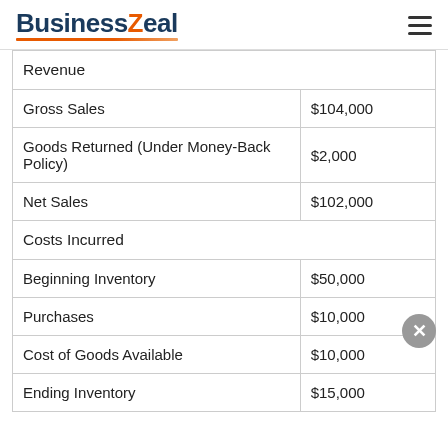[Figure (logo): BusinessZeal logo with orange Z and orange underline, hamburger menu icon on right]
| Revenue |  |
| Gross Sales | $104,000 |
| Goods Returned (Under Money-Back Policy) | $2,000 |
| Net Sales | $102,000 |
| Costs Incurred |  |
| Beginning Inventory | $50,000 |
| Purchases | $10,000 |
| Cost of Goods Available | $10,000 |
| Ending Inventory | $15,000 |